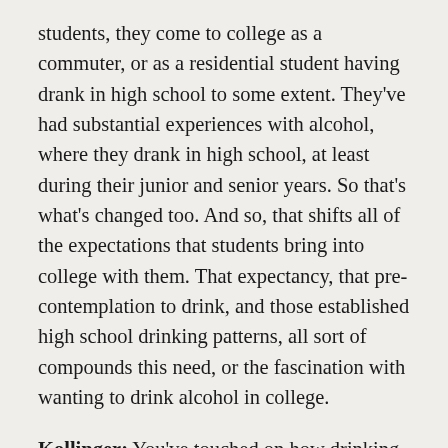students, they come to college as a commuter, or as a residential student having drank in high school to some extent. They've had substantial experiences with alcohol, where they drank in high school, at least during their junior and senior years. So that's what's changed too. And so, that shifts all of the expectations that students bring into college with them. That expectancy, that pre-contemplation to drink, and those established high school drinking patterns, all sort of compounds this need, or the fascination with wanting to drink alcohol in college.
Kollinger: You've touched on how drinking